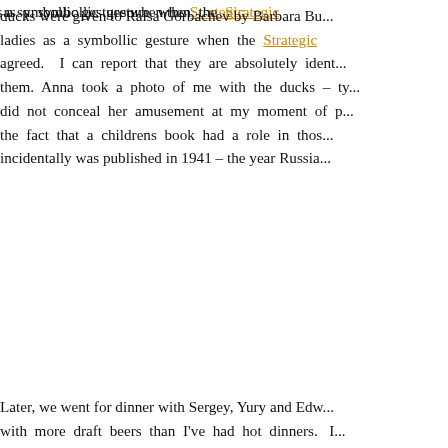ducks were given to Raisa Gorbachev by Barbara Bu... ladies as a symbollic gesture when the Strategic... agreed.   I can report that they are absolutely ident... them.  Anna took a photo of me with the ducks – ty... did not conceal her amusement at my moment of p... the fact that a childrens book had a role in thos... incidentally was published in 1941 – the year Russia...
[Figure (photo): Bronze duck sculptures (Make Way for Ducklings) in a park setting with cobblestone path, wooden shed/building, benches, and trees in background]
Later, we went for dinner with Sergey, Yury and Edw... with more draft beers than I've had hot dinners.   I... Palmeni – plumptious little dumplings stuffed with...